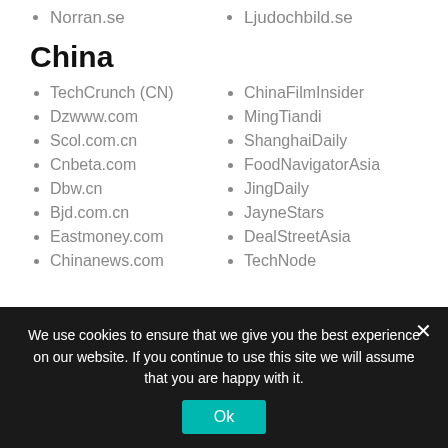Norran.se
Ljudochbild.se
China
TechCrunch (CN)
ChinaFilmInsider
Dzwww.com
MingTiandi
Scol.com.cn
ShanghaiDaily
Cnbeta.com
FoodNavigatorAsia
Dbw.cn
JingDaily
Bjd.com.cn
JayneStars
Eastmoney.com
DealStreetAsia
Chinanews.com
TechNode
We use cookies to ensure that we give you the best experience on our website. If you continue to use this site we will assume that you are happy with it.